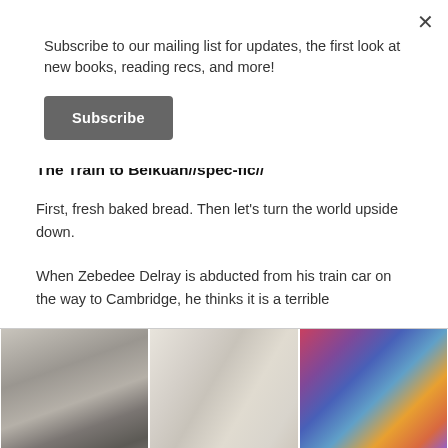Subscribe to our mailing list for updates, the first look at new books, reading recs, and more!
[Figure (other): Subscribe button - dark grey rounded rectangle button with white bold text 'Subscribe']
[Figure (photo): Three side-by-side photos: 1) Black and white photo of a person in dark clothing, 2) Close-up of hands kneading bread dough with flour, 3) Colorful stained glass window with bokeh light effects]
The Train to Belkuah//spec-fic//
First, fresh baked bread. Then let's turn the world upside down.
When Zebedee Delray is abducted from his train car on the way to Cambridge, he thinks it is a terrible